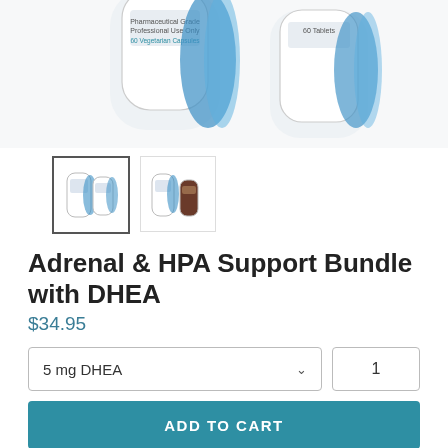[Figure (photo): Two white supplement bottles with blue labels, partially cropped at top of page]
[Figure (photo): Thumbnail 1 (selected, bordered): two white supplement bottles]
[Figure (photo): Thumbnail 2: white supplement bottle with brown/dark bottle]
Adrenal & HPA Support Bundle with DHEA
$34.95
5 mg DHEA
1
ADD TO CART